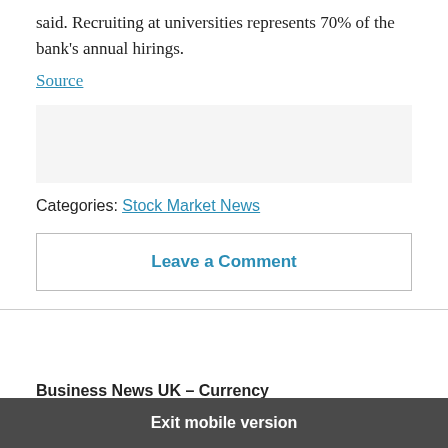said. Recruiting at universities represents 70% of the bank's annual hirings.
Source
[Figure (other): Advertisement or empty gray box placeholder]
Categories: Stock Market News
Leave a Comment
Business News UK – Currency quotes, Stocks, Forex, Financial News
Back to top
Exit mobile version